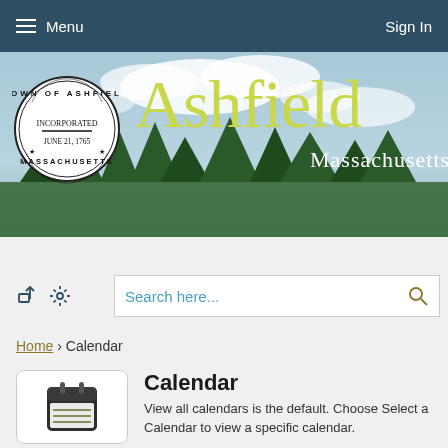Menu   Sign In
[Figure (photo): Hero banner showing Ashfield Massachusetts town seal on left, with stylized 'Ashfield' in yellow-green text and 'Massachusetts' in white, over a sky and tree landscape background]
Search here...
Home › Calendar
Calendar
View all calendars is the default. Choose Select a Calendar to view a specific calendar.